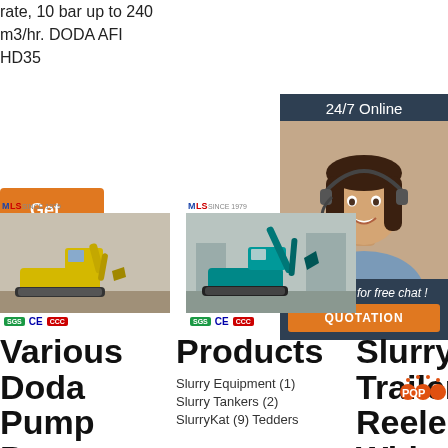rate, 10 bar up to 240 m3/hr. DODA AFI HD35
Get Price
[Figure (screenshot): 24/7 online chat support box with a woman wearing a headset, dark navy background, Click here for free chat text, and QUOTATION orange button]
[Figure (photo): Yellow mini excavator product card with MLS Since 1979 logo and SGS CE CCC badges]
[Figure (photo): Teal/green mini excavator product card with MLS Since 1979 logo and SGS CE CCC badges]
Various Doda Pump Parts From
Products
Slurry Equipment (1)
Slurry Tankers (2)
SlurryKat (9) Tedders
SlurryKat Trailer Reeler With